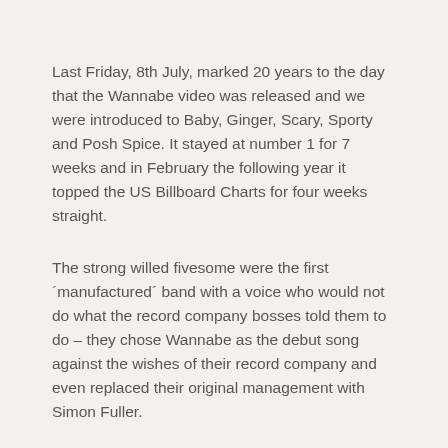Last Friday, 8th July, marked 20 years to the day that the Wannabe video was released and we were introduced to Baby, Ginger, Scary, Sporty and Posh Spice. It stayed at number 1 for 7 weeks and in February the following year it topped the US Billboard Charts for four weeks straight.
The strong willed fivesome were the first ´manufactured´ band with a voice who would not do what the record company bosses told them to do – they chose Wannabe as the debut song against the wishes of their record company and even replaced their original management with Simon Fuller.
The diverse identities of Posh, Scary, Baby, Sporty and Ginger (as nicknamed by Top of the Pops magazine) also captivated the world with many a young girl (and boy) 'adopting' a Spice Girl identity.
They dominated the charts and our lives – with their...